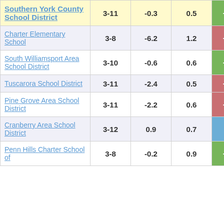| School/District | Grades | Col3 | Col4 | Score |
| --- | --- | --- | --- | --- |
| Southern York County School District | 3-11 | -0.3 | 0.5 | -0.61 |
| Charter Elementary School | 3-8 | -6.2 | 1.2 | -5.29 |
| South Williamsport Area School District | 3-10 | -0.6 | 0.6 | -0.85 |
| Tuscarora School District | 3-11 | -2.4 | 0.5 | -5.11 |
| Pine Grove Area School District | 3-11 | -2.2 | 0.6 | -3.90 |
| Cranberry Area School District | 3-12 | 0.9 | 0.7 | 1.27 |
| Penn Hills Charter School of | 3-8 | -0.2 | 0.9 | -0.20 |